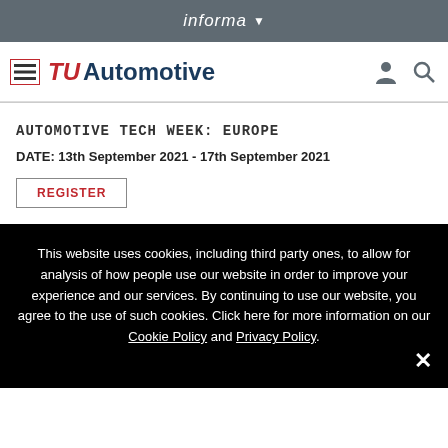informa
[Figure (logo): TU Automotive logo with hamburger menu, person icon and search icon]
Automotive Tech Week: Europe
DATE: 13th September 2021 - 17th September 2021
REGISTER
This website uses cookies, including third party ones, to allow for analysis of how people use our website in order to improve your experience and our services. By continuing to use our website, you agree to the use of such cookies. Click here for more information on our Cookie Policy and Privacy Policy.